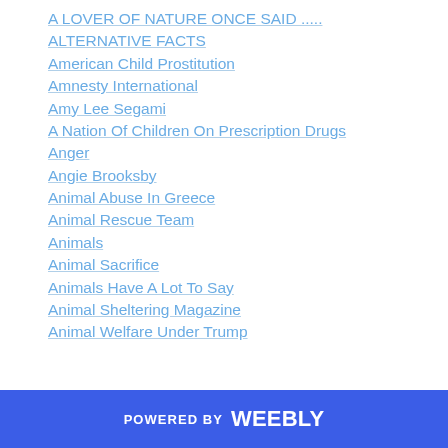A LOVER OF NATURE ONCE SAID .....
ALTERNATIVE FACTS
American Child Prostitution
Amnesty International
Amy Lee Segami
A Nation Of Children On Prescription Drugs
Anger
Angie Brooksby
Animal Abuse In Greece
Animal Rescue Team
Animals
Animal Sacrifice
Animals Have A Lot To Say
Animal Sheltering Magazine
Animal Welfare Under Trump
POWERED BY weebly